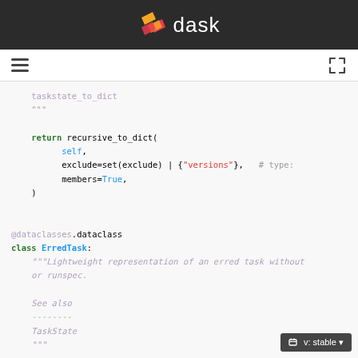dask
[Figure (logo): Dask logo with orange and pink/red stacked parallelogram shapes and white 'dask' text on dark background]
Navigation bar with hamburger menu and expand icon
"""taskstate_to_dict
"""

return recursive_to_dict(
    self,
    exclude=set(exclude) | {"versions"},   # type:
    members=True,
)


@dataclasses.dataclass
class ErredTask:
    """Lightweight representation of an erred task without
    or runspec.

    See also
    --------
    TaskState
    """

    key: Hashable